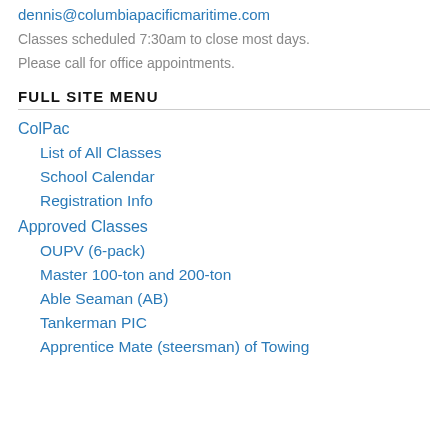dennis@columbiapacificmaritime.com
Classes scheduled 7:30am to close most days.
Please call for office appointments.
FULL SITE MENU
ColPac
List of All Classes
School Calendar
Registration Info
Approved Classes
OUPV (6-pack)
Master 100-ton and 200-ton
Able Seaman (AB)
Tankerman PIC
Apprentice Mate (steersman) of Towing